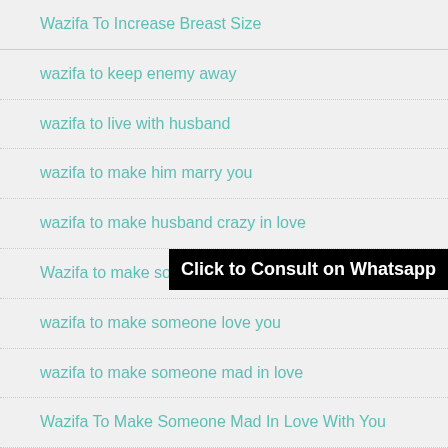Wazifa To Increase Breast Size
wazifa to keep enemy away
wazifa to live with husband
wazifa to make him marry you
wazifa to make husband crazy in love
Wazifa to make someone fall in love with you
wazifa to make someone love you
wazifa to make someone mad in love
Wazifa To Make Someone Mad In Love With You
wazifa to make someone miss you